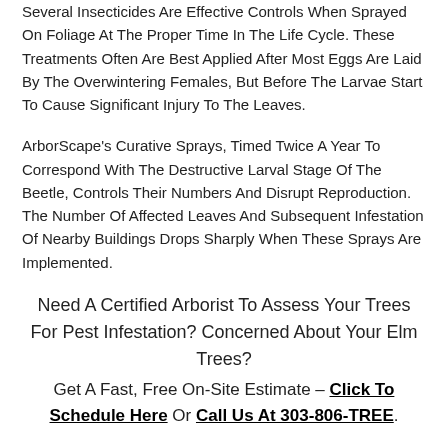Several Insecticides Are Effective Controls When Sprayed On Foliage At The Proper Time In The Life Cycle. These Treatments Often Are Best Applied After Most Eggs Are Laid By The Overwintering Females, But Before The Larvae Start To Cause Significant Injury To The Leaves.
ArborScape's Curative Sprays, Timed Twice A Year To Correspond With The Destructive Larval Stage Of The Beetle, Controls Their Numbers And Disrupt Reproduction. The Number Of Affected Leaves And Subsequent Infestation Of Nearby Buildings Drops Sharply When These Sprays Are Implemented.
Need A Certified Arborist To Assess Your Trees For Pest Infestation? Concerned About Your Elm Trees? Get A Fast, Free On-Site Estimate – Click To Schedule Here Or Call Us At 303-806-TREE.